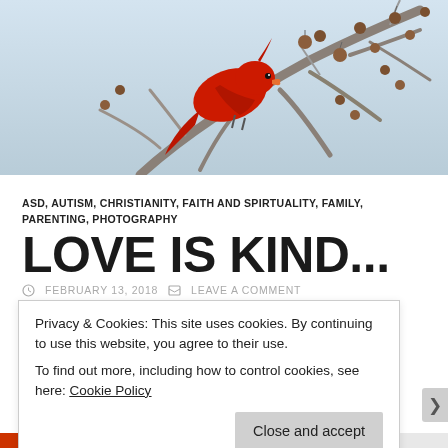[Figure (photo): A red cardinal bird perched on a bare tree branch with small round berries/fruit against a light blue-gray winter sky.]
ASD, AUTISM, CHRISTIANITY, FAITH AND SPIRTUALITY, FAMILY, PARENTING, PHOTOGRAPHY
LOVE IS KIND...
FEBRUARY 13, 2018   LEAVE A COMMENT
Privacy & Cookies: This site uses cookies. By continuing to use this website, you agree to their use.
To find out more, including how to control cookies, see here: Cookie Policy
Close and accept